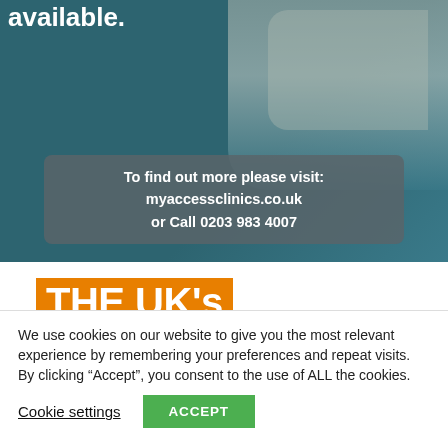[Figure (photo): Top section with teal/dark background, text 'available.' in white bold, a person's arm/body partially visible on the right, and a pill-shaped contact info box showing website and phone number.]
To find out more please visit: myaccessclinics.co.uk or Call 0203 983 4007
THE UK's STRONGEST CBD TOPICAL
We use cookies on our website to give you the most relevant experience by remembering your preferences and repeat visits. By clicking “Accept”, you consent to the use of ALL the cookies.
Cookie settings   ACCEPT